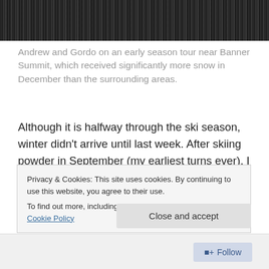[Figure (photo): Black and white photograph strip showing snowy mountain terrain, cropped at top of page]
Andrew and Gordo on an early season tour near Banner Summit, which received significantly more snow in December than the surrounding areas.
Although it is halfway through the ski season, winter didn't arrive until last week. After skiing powder in September (my earliest turns ever), I was ready for winter. Little did I know at the time that there would be a four month wait for any significant snow to fall. Experiencing the warmest fall and driest first-half of the winter since moving to Idaho, it
Privacy & Cookies: This site uses cookies. By continuing to use this website, you agree to their use.
To find out more, including how to control cookies, see here: Cookie Policy
Close and accept